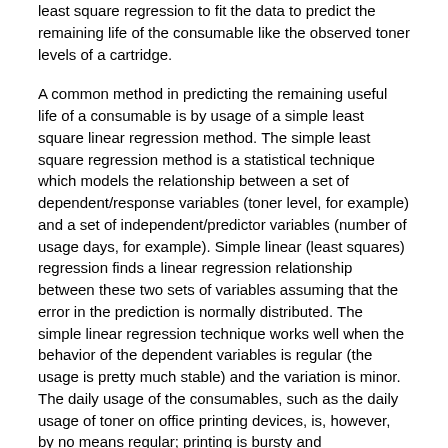least square regression to fit the data to predict the remaining life of the consumable like the observed toner levels of a cartridge.
A common method in predicting the remaining useful life of a consumable is by usage of a simple least square linear regression method. The simple least square regression method is a statistical technique which models the relationship between a set of dependent/response variables (toner level, for example) and a set of independent/predictor variables (number of usage days, for example). Simple linear (least squares) regression finds a linear regression relationship between these two sets of variables assuming that the error in the prediction is normally distributed. The simple linear regression technique works well when the behavior of the dependent variables is regular (the usage is pretty much stable) and the variation is minor. The daily usage of the consumables, such as the daily usage of toner on office printing devices, is, however, by no means regular; printing is bursty and unpredictable on a daily basis. These problems reduce the ability of simple linear regression techniques to accurately predict the remaining life of toner cartridges and other